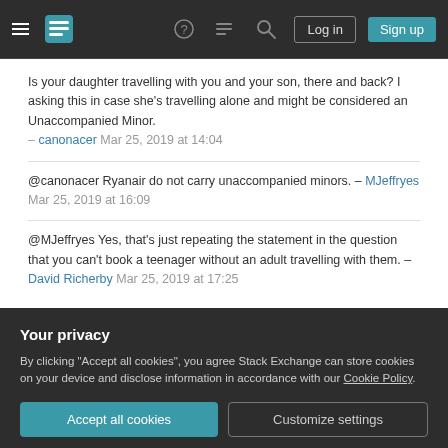Stack Exchange navigation bar with hamburger menu, logo, help, chat, search icons, Log in and Sign up buttons
Is your daughter travelling with you and your son, there and back? I asking this in case she's travelling alone and might be considered an Unaccompanied Minor. – canonacer Mar 25, 2019 at 14:04
@canonacer Ryanair do not carry unaccompanied minors. – MJeffryes Mar 25, 2019 at 16:09
@MJeffryes Yes, that's just repeating the statement in the question that you can't book a teenager without an adult travelling with them. – David Richerby Mar 25, 2019 at 17:25
Your privacy
By clicking "Accept all cookies", you agree Stack Exchange can store cookies on your device and disclose information in accordance with our Cookie Policy.
Accept all cookies  Customize settings
age are very worldly wise and well traveled.